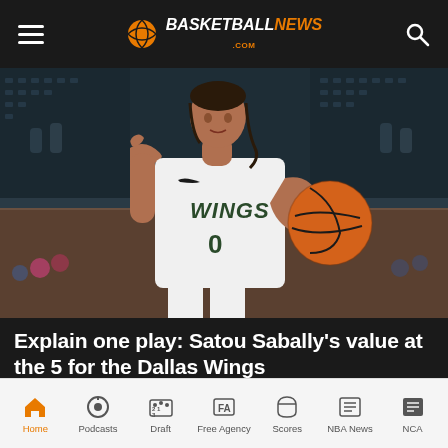BasketballNews.com
[Figure (photo): Basketball player wearing Dallas Wings jersey number 0 holding basketball and pointing with one finger, arena crowd in background]
Explain one play: Satou Sabally's value at the 5 for the Dallas Wings
NEKIAS DUNCAN
Home | Podcasts | Draft | Free Agency | Scores | NBA News | NCA